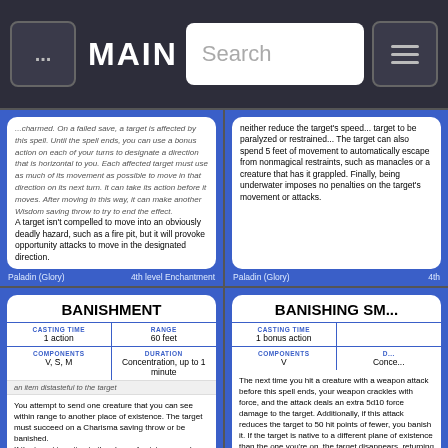MAIN
charmed. On a failed save, a target is affected by this spell. Until the spell ends, you can use a bonus action on each of your turns to designate a direction that is horizontal to you. Each affected target must use as much of its movement as possible to move in that direction on its next turn. It can take its action before it moves. After moving in this way, it can make another Wisdom saving throw to try to end the effect.
A target isn't compelled to move into an obviously deadly hazard, such as a fire pit, but it will provoke opportunity attacks to move in the designated direction.
Paladin (Glory)   4th level Enchantment
neither reduce the target's speed... target to be paralyzed or restrained... The target can also spend 5 feet of movement to automatically escape from nonmagical restraints, such as manacles or a creature that has it grappled. Finally, being underwater imposes no penalties on the target's movement or attacks.
Paladin (Glory)   4th
BANISHMENT
| CASTING TIME | RANGE | COMPONENTS | DURATION |
| --- | --- | --- | --- |
| 1 action | 60 feet | V, S, M | Concentration, up to 1 minute |
an item distasteful to the target
You attempt to send one creature that you can see within range to another place of existence. The target must succeed on a Charisma saving throw or be banished.
If the target is native to the plane of existence you're on, you banish the target to a harmless demiplane. While there, the target is incapacitated. The target remains there until the spell ends, at which point the target reappears in the space it left or in the nearest unoccupied space if that space is occupied.
BANISHING SM...
| CASTING TIME | RANGE/DURATION | COMPONENTS | D... |
| --- | --- | --- | --- |
| 1 bonus action |  | V | Conce... |
The next time you hit a creature with a weapon attack before this spell ends, your weapon crackles with force, and the attack deals an extra 5d10 force damage to the target. Additionally, if this attack reduces the target to 50 hit points of fewer, you banish it. If the target is native to a different plane of existence than the one you're on, the target disappears, returning to its home plane. If the target is native to the plane you're on...